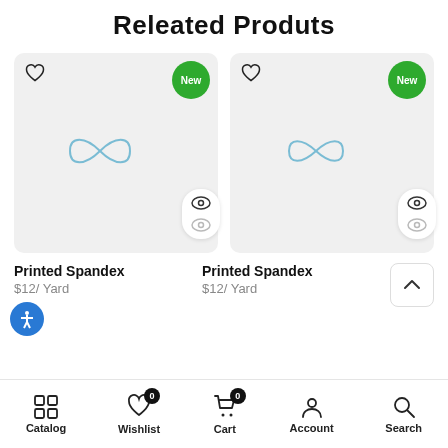Releated Produts
[Figure (screenshot): Product card 1: gray background card with heart icon, green 'New' badge, placeholder infinity-like image icon, and two eye icons for quick view]
[Figure (screenshot): Product card 2: gray background card with heart icon, green 'New' badge, placeholder infinity-like image icon, and two eye icons for quick view]
Printed Spandex
$12/ Yard
Printed Spandex
$12/ Yard
Catalog  Wishlist 0  Cart 0  Account  Search